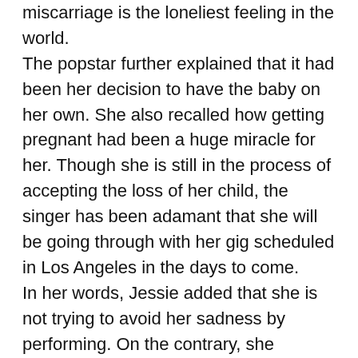miscarriage is the loneliest feeling in the world.
The popstar further explained that it had been her decision to have the baby on her own. She also recalled how getting pregnant had been a huge miracle for her. Though she is still in the process of accepting the loss of her child, the singer has been adamant that she will be going through with her gig scheduled in Los Angeles in the days to come.
In her words, Jessie added that she is not trying to avoid her sadness by performing. On the contrary, she believes that singing is her therapy and that the two shows she has done in two years have proved that her soul needs this catharsis.
The 33-year-old continued that she realizes that there are people who want her to cancel her show but, she refuses to do so on account of the clarity that singing provides to her. She reminisced that she had initially started singing just for joy when she was young. According to Jessie, it